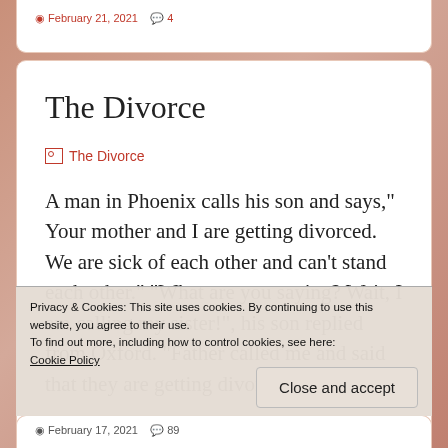February 21, 2021  •  4
The Divorce
[Figure (illustration): Broken image placeholder labeled 'The Divorce']
A man in Phoenix calls his son and says," Your mother and I are getting divorced. We are sick of each other and can't stand each other." "What are you saying? Wait, I am calling my sister!", his son replied from Oxford. "Father called me and said that they are getting divorced!", he
Privacy & Cookies: This site uses cookies. By continuing to use this website, you agree to their use.
To find out more, including how to control cookies, see here: Cookie Policy
Close and accept
February 17, 2021  •  89